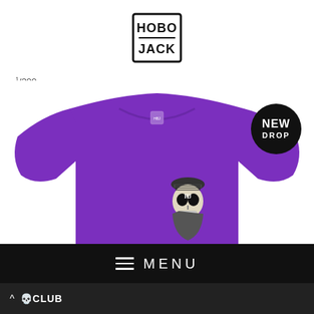[Figure (logo): HOBO JACK brand logo in a bold geometric square frame with diagonal lettering]
1/300
[Figure (photo): Purple crew-neck t-shirt with a skull wearing a beanie hat graphic on the chest, small brand label at neckline]
NEW DROP badge circle (black circle with white bold text)
≡  MENU
^ skull CLUB